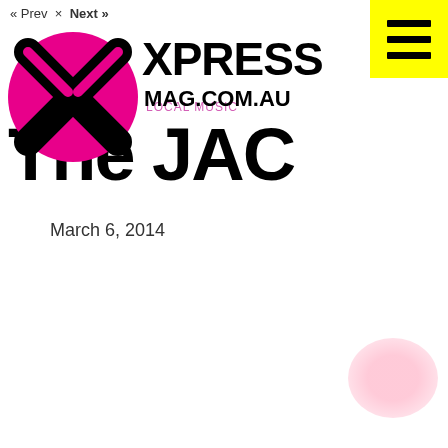« Prev × Next »
[Figure (logo): Xpress Magazine logo: pink and black X circle with text XPRESS MAG.COM.AU]
The JAC
March 6, 2014